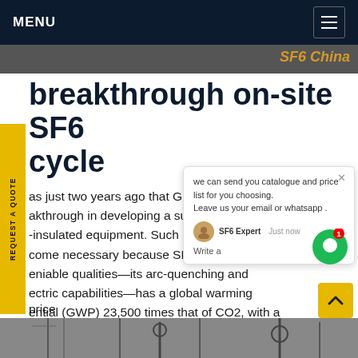MENU
breakthrough on-site SF6 cycle
as just two years ago that GE an akthrough in developing a substi -insulated equipment. Such c come necessary because SF6, de eniable qualities—its arc-quenching and ectric capabilities—has a global warming ential (GWP) 23,500 times that of CO2, with a ime in the atmosphere of over 3,000 years.Get price